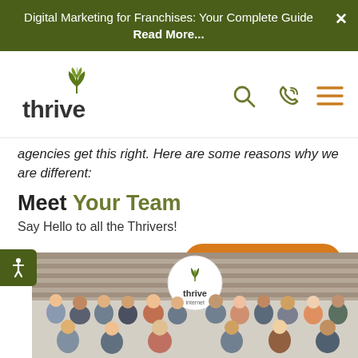Digital Marketing for Franchises: Your Complete Guide Read More...
[Figure (logo): Thrive Internet Marketing Agency logo with green leaf/plant icon above the word 'thrive' in dark text]
agencies get this right. Here are some reasons why we are different:
Meet Your Team
Say Hello to all the Thrivers!
[Figure (infographic): Orange rounded rectangle button reading 'Get to Know Us!»']
[Figure (photo): Group photo of Thrive Internet Marketing Agency team members in an office setting with a Thrive logo sign in the background]